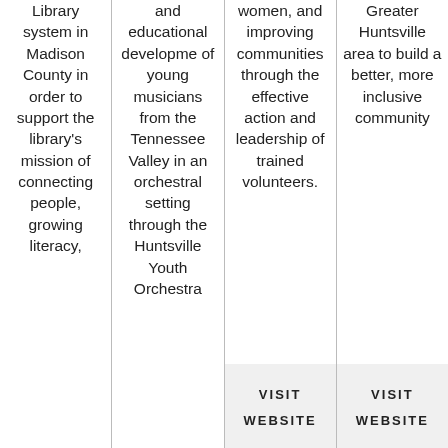Library system in Madison County in order to support the library's mission of connecting people, growing literacy,
and educational development of young musicians from the Tennessee Valley in an orchestral setting through the Huntsville Youth Orchestra
women, and improving communities through the effective action and leadership of trained volunteers.
VISIT WEBSITE
Greater Huntsville area to build a better, more inclusive community
VISIT WEBSITE